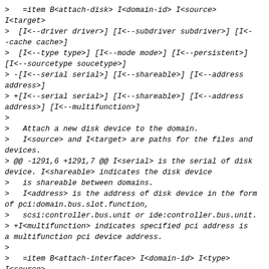> =item B<attach-disk> I<domain-id> I<source> I<target>
> [I<--driver driver>] [I<--subdriver subdriver>] [I<--cache cache>]
> [I<--type type>] [I<--mode mode>] [I<--persistent>] [I<--sourcetype soucetype>]
> -[I<--serial serial>] [I<--shareable>] [I<--address address>]
> +[I<--serial serial>] [I<--shareable>] [I<--address address>] [I<--multifunction>]
>
>  Attach a new disk device to the domain.
>  I<source> and I<target> are paths for the files and devices.
> @@ -1291,6 +1291,7 @@ I<serial> is the serial of disk device. I<shareable> indicates the disk device
>  is shareable between domains.
>  I<address> is the address of disk device in the form of pci:domain.bus.slot.function,
>   scsi:controller.bus.unit or ide:controller.bus.unit.
> +I<multifunction> indicates specified pci address is a multifunction pci device address.
>
> =item B<attach-interface> I<domain-id> I<type> I<source>
> [I<--target target>] [I<--mac mac>] [I<--script script>] [I<--model model>]